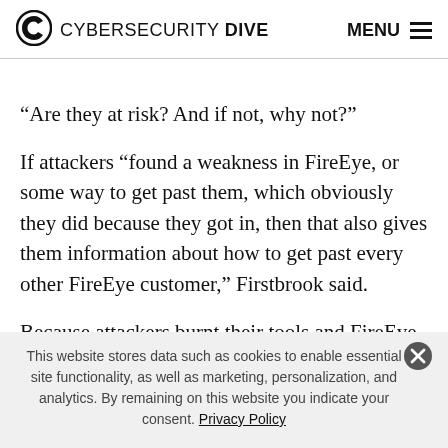CYBERSECURITY DIVE   MENU
“Are they at risk? And if not, why not?”
If attackers “found a weakness in FireEye, or some way to get past them, which obviously they did because they got in, then that also gives them information about how to get past every other FireEye customer,” Firstbrook said.
Because attackers burnt their tools and FireEye caught them, the company can do a forensic audit to determine
This website stores data such as cookies to enable essential site functionality, as well as marketing, personalization, and analytics. By remaining on this website you indicate your consent. Privacy Policy